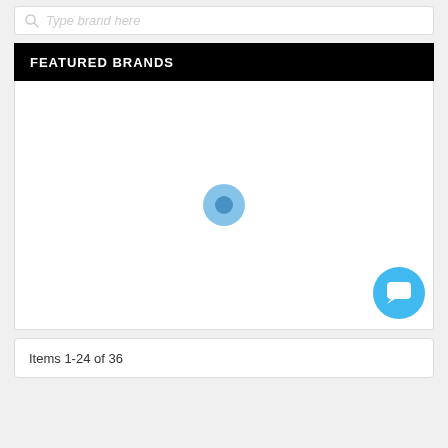[Figure (screenshot): Search input box with placeholder text 'Type brand here' and a search icon on the left]
FEATURED BRANDS
[Figure (other): White content area with a blue circular loading spinner in the center and a blue chat button in the bottom right corner]
Items 1-24 of 36